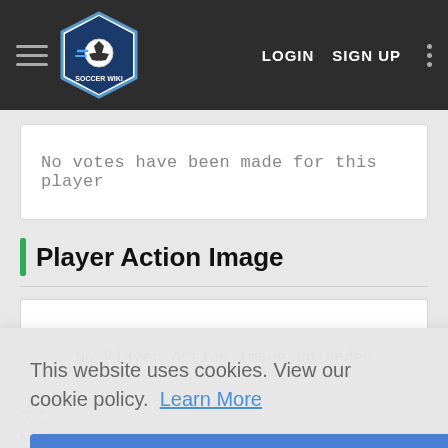Soccer Wiki — LOGIN  SIGN UP
No votes have been made for this player
Player Action Image
No Player Action image uploaded
This website uses cookies. View our cookie policy.  Learn More
Okay
61.8
67.6
67.4